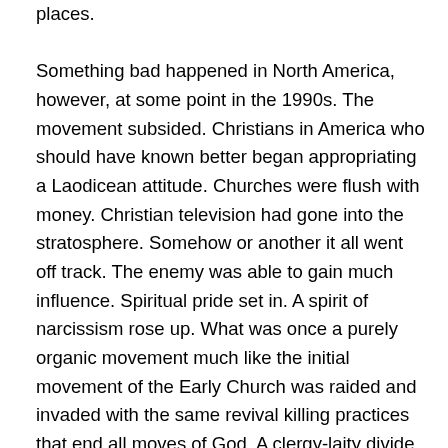places. Something bad happened in North America, however, at some point in the 1990s. The movement subsided. Christians in America who should have known better began appropriating a Laodicean attitude. Churches were flush with money. Christian television had gone into the stratosphere. Somehow or another it all went off track. The enemy was able to gain much influence. Spiritual pride set in. A spirit of narcissism rose up. What was once a purely organic movement much like the initial movement of the Early Church was raided and invaded with the same revival killing practices that end all moves of God. A clergy-laity divide enshrouded the Community. Celebrity Christianity rose dramatically. Prosperity preachers and motivational speakers became the standard. Everyone